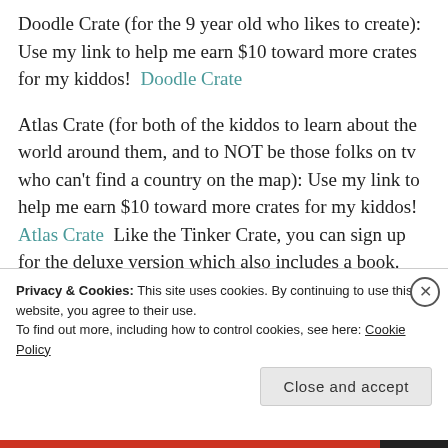Doodle Crate (for the 9 year old who likes to create): Use my link to help me earn $10 toward more crates for my kiddos!  Doodle Crate
Atlas Crate (for both of the kiddos to learn about the world around them, and to NOT be those folks on tv who can't find a country on the map): Use my link to help me earn $10 toward more crates for my kiddos!  Atlas Crate  Like the Tinker Crate, you can sign up for the deluxe version which also includes a book. This is a brand new subscription but so far I have not been disappointed.
Privacy & Cookies: This site uses cookies. By continuing to use this website, you agree to their use.
To find out more, including how to control cookies, see here: Cookie Policy
Close and accept